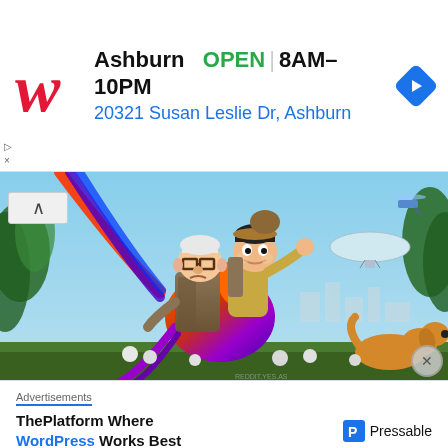[Figure (infographic): Walgreens advertisement banner showing logo, location name Ashburn, OPEN status, hours 8AM-10PM, address 20321 Susan Susan Leslie Dr Ashburn, and a navigation arrow icon]
[Figure (photo): Scene from Pixar movie Up showing elderly man Carl Fredricksen and young boy Russell riding a colorful tropical bird, with a dog, blimp, and helicopter in the sky background]
Advertisements
[Figure (logo): Pressable WordPress hosting advertisement: ThePlatform Where WordPress Works Best with Pressable logo]